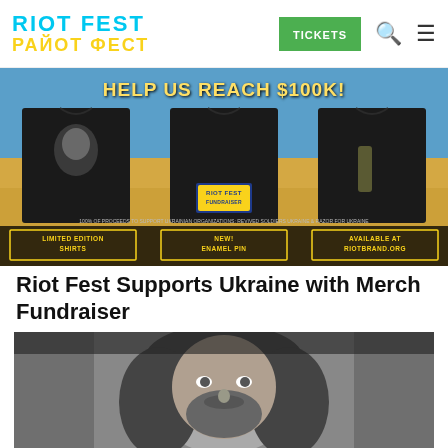RIOT FEST / РАЙОТ ФЕСТ
[Figure (photo): Ukraine merchandise fundraiser banner showing three black t-shirts against a blue and yellow Ukrainian flag background. Banner text reads 'HELP US REACH $100K!' with labels: LIMITED EDITION SHIRTS, NEW! ENAMEL PIN, AVAILABLE AT RIOTBRAND.ORG. Footnote: 100% OF PROCEEDS TO SUPPORT UKRAINIAN ORGANIZATIONS: REVIVED SOLDIERS UKRAINE & RAZOR FOR UKRAINE]
Riot Fest Supports Ukraine with Merch Fundraiser
[Figure (photo): Black and white close-up portrait photograph of a man with long wavy hair and a beard, looking upward with intense eyes.]